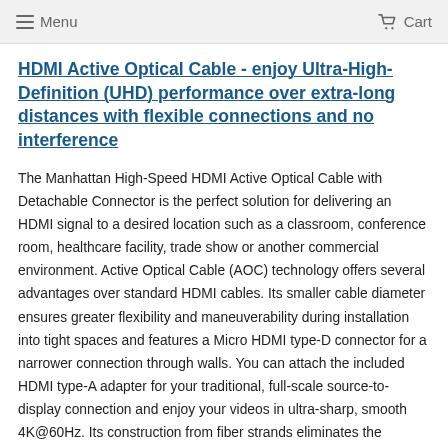Menu  Cart
HDMI Active Optical Cable - enjoy Ultra-High-Definition (UHD) performance over extra-long distances with flexible connections and no interference
The Manhattan High-Speed HDMI Active Optical Cable with Detachable Connector is the perfect solution for delivering an HDMI signal to a desired location such as a classroom, conference room, healthcare facility, trade show or another commercial environment. Active Optical Cable (AOC) technology offers several advantages over standard HDMI cables. Its smaller cable diameter ensures greater flexibility and maneuverability during installation into tight spaces and features a Micro HDMI type-D connector for a narrower connection through walls. You can attach the included HDMI type-A adapter for your traditional, full-scale source-to-display connection and enjoy your videos in ultra-sharp, smooth 4K@60Hz. Its construction from fiber strands eliminates the